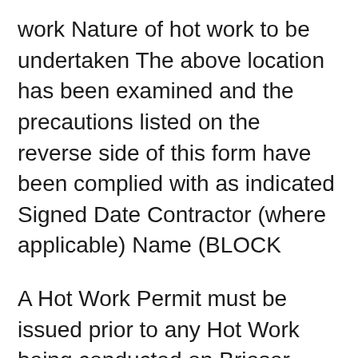work Nature of hot work to be undertaken The above location has been examined and the precautions listed on the reverse side of this form have been complied with as indicated Signed Date Contractor (where applicable) Name (BLOCK
A Hot Work Permit must be issued prior to any Hot Work being conducted on Brieser property or at a jobsite by any person, employee, or contractor. Hot work вЂ¦ Preventing Runovers and Backovers: Internal Traffic Control in Roadway Work Zones, Two-Hour Course American Road & Transportation Builders Association (ARTBA) 2012